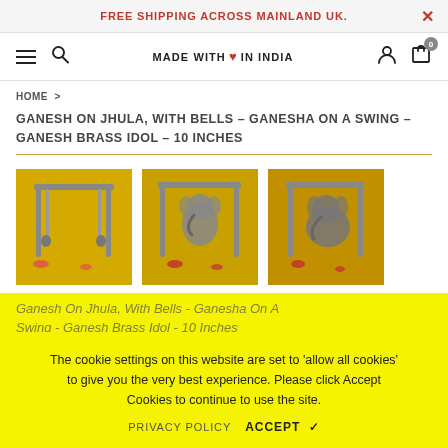FREE SHIPPING ACROSS MAINLAND UK.
MADE WITH ♥ IN INDIA
HOME >
GANESH ON JHULA, WITH BELLS – GANESHA ON A SWING – GANESH BRASS IDOL – 10 INCHES
[Figure (photo): Three product photos of a brass Ganesh on Jhula (swing) idol with bells, shown from different angles against a yellow background]
Ganesh On Jhula, With Bells - Ganesha On A Swing - Ganesh Brass Idol - 10 Inches
The cookie settings on this website are set to 'allow all cookies' to give you the very best experience. Please click Accept Cookies to continue to use the site.
PRIVACY POLICY  ACCEPT ✔
Availability